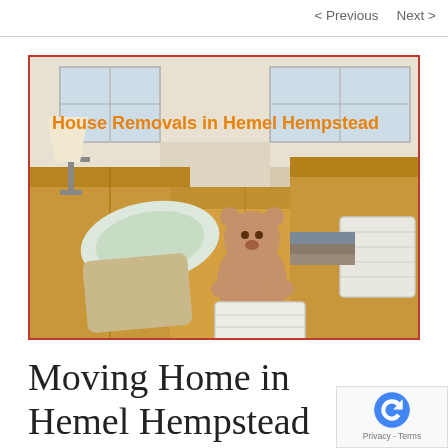< Previous   Next >
[Figure (photo): A room with moving boxes stacked, a teddy bear, decorative pillows, a lamp, books, and a white wicker basket. Text overlay reads: House Removals in Hemel Hempstead]
Moving Home in Hemel Hempstead Hertfordshire